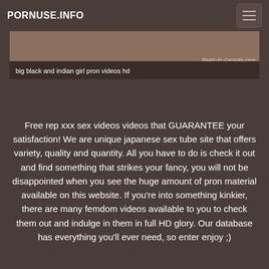PORNUSE.INFO
big black and indian girl pron videos hd
Free rep xxx sex videos videos that GUARANTEE your satisfaction! We are unique japanese sex tube site that offers variety, quality and quantity. All you have to do is check it out and find something that strikes your fancy, you will not be disappointed when you see the huge amount of pron material available on this website. If you're into something kinkier, there are many femdom videos available to you to check them out and indulge in them in full HD glory. Our database has everything you'll ever need, so enter enjoy ;)